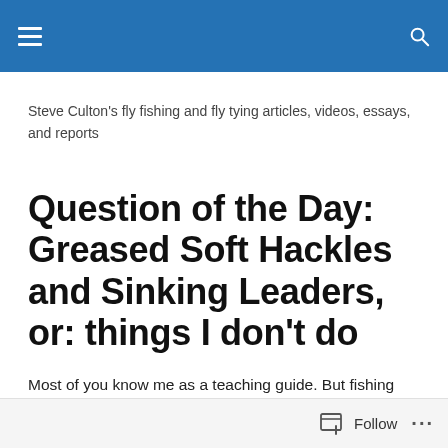Steve Culton's fly fishing and fly tying articles, videos, essays, and reports
Question of the Day: Greased Soft Hackles and Sinking Leaders, or: things I don't do
Most of you know me as a teaching guide. But fishing education is not just limited to time spent on the water. I received this question via email last week, and I thought it
Follow